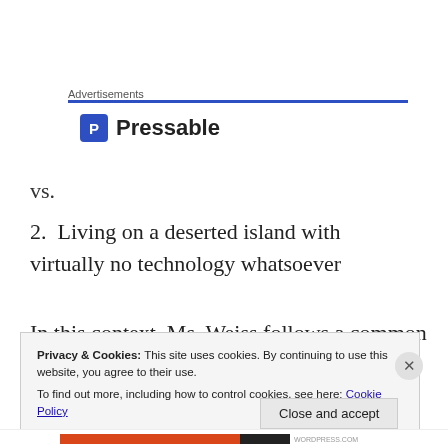Advertisements
[Figure (logo): Pressable logo with blue square P icon and bold text 'Pressable']
vs.
2. Living on a deserted island with virtually no technology whatsoever
In this context, Ms. Weiss follows a common fallacy —
Privacy & Cookies: This site uses cookies. By continuing to use this website, you agree to their use.
To find out more, including how to control cookies, see here: Cookie Policy
Close and accept